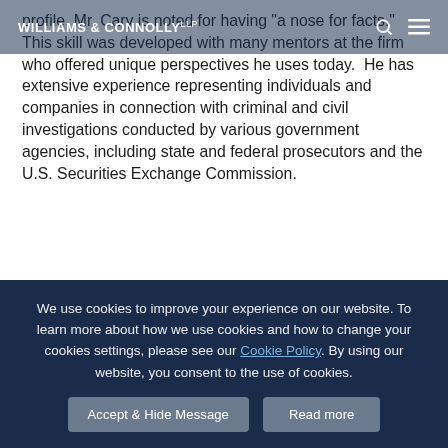WILLIAMS & CONNOLLY LLP
profile, Mr. Cary is noted for having "a nose for facts." This skill was developed with many mentors at the firm who offered unique perspectives he uses today. He has extensive experience representing individuals and companies in connection with criminal and civil investigations conducted by various government agencies, including state and federal prosecutors and the U.S. Securities Exchange Commission.
RELATED PROFILES
We use cookies to improve your experience on our website. To learn more about how we use cookies and how to change your cookies settings, please see our Cookie Policy. By using our website, you consent to the use of cookies.
Accept & Hide Message
Read more